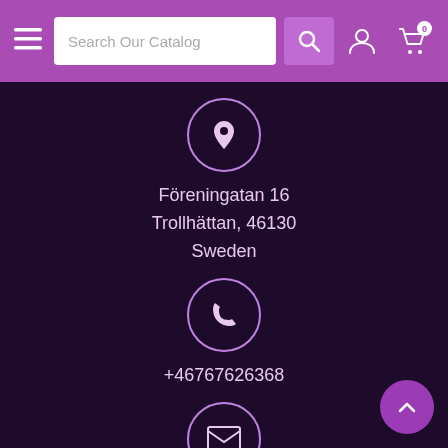Search Our Catalog — navigation bar with hamburger menu, search box, account and cart icons
Föreningatan 16
Trollhättan, 46130
Sweden
+46767626368
info@alaragames.se
OPENING HOURS
Monday – Friday: 11.00–18.00
Saturday: 10.00–18.00